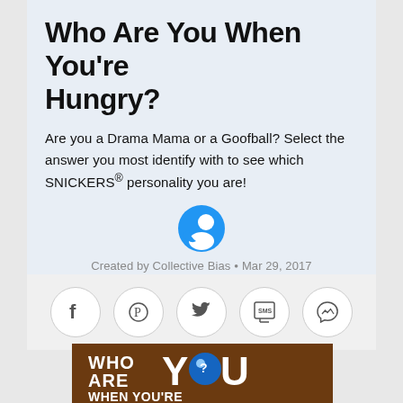Who Are You When You're Hungry?
Are you a Drama Mama or a Goofball? Select the answer you most identify with to see which SNICKERS® personality you are!
Created by Collective Bias · Mar 29, 2017
[Figure (infographic): Social share buttons: Facebook, Pinterest, Twitter, SMS, Messenger]
[Figure (infographic): Brown promotional banner reading WHO ARE YOU WHEN YOU'RE HUNGRY? with SNICKERS branding and a blue question mark face replacing the 'O' in YOU]